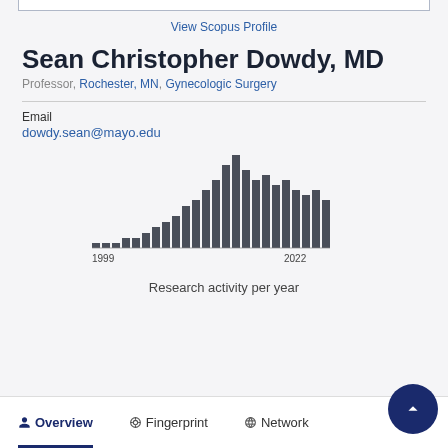View Scopus Profile
Sean Christopher Dowdy, MD
Professor, Rochester, MN, Gynecologic Surgery
Email
dowdy.sean@mayo.edu
[Figure (histogram): Research activity per year]
Research activity per year
Overview   Fingerprint   Network